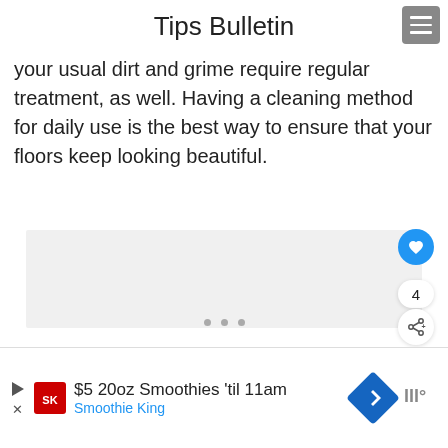Tips Bulletin
your usual dirt and grime require regular treatment, as well. Having a cleaning method for daily use is the best way to ensure that your floors keep looking beautiful.
[Figure (photo): Image placeholder / slideshow area with light gray background, with navigation dots below]
[Figure (screenshot): Advertisement banner: $5 20oz Smoothies 'til 11am - Smoothie King]